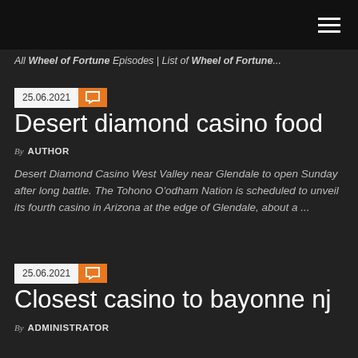All Wheel of Fortune Episodes | List of Wheel of Fortune...
25.06.2021
Desert diamond casino food
By AUTHOR
Desert Diamond Casino West Valley near Glendale to open Sunday after long battle. The Tohono O'odham Nation is scheduled to unveil its fourth casino in Arizona at the edge of Glendale, about a ...
25.06.2021
Closest casino to bayonne nj
By ADMINISTRATOR